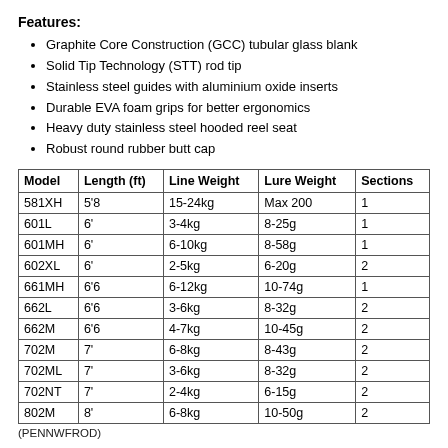Features:
Graphite Core Construction (GCC) tubular glass blank
Solid Tip Technology (STT) rod tip
Stainless steel guides with aluminium oxide inserts
Durable EVA foam grips for better ergonomics
Heavy duty stainless steel hooded reel seat
Robust round rubber butt cap
| Model | Length (ft) | Line Weight | Lure Weight | Sections |
| --- | --- | --- | --- | --- |
| 581XH | 5'8 | 15-24kg | Max 200 | 1 |
| 601L | 6' | 3-4kg | 8-25g | 1 |
| 601MH | 6' | 6-10kg | 8-58g | 1 |
| 602XL | 6' | 2-5kg | 6-20g | 2 |
| 661MH | 6'6 | 6-12kg | 10-74g | 1 |
| 662L | 6'6 | 3-6kg | 8-32g | 2 |
| 662M | 6'6 | 4-7kg | 10-45g | 2 |
| 702M | 7' | 6-8kg | 8-43g | 2 |
| 702ML | 7' | 3-6kg | 8-32g | 2 |
| 702NT | 7' | 2-4kg | 6-15g | 2 |
| 802M | 8' | 6-8kg | 10-50g | 2 |
(PENNWFROD)